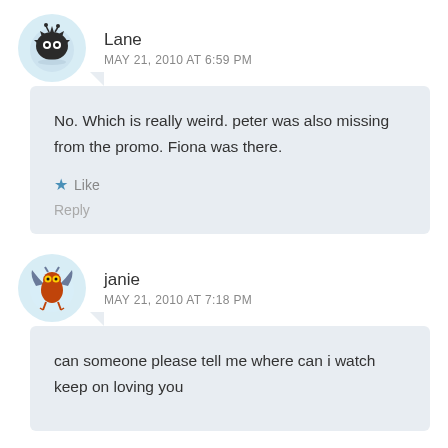Lane
MAY 21, 2010 AT 6:59 PM
No. Which is really weird. peter was also missing from the promo. Fiona was there.
Like
Reply
janie
MAY 21, 2010 AT 7:18 PM
can someone please tell me where can i watch keep on loving you